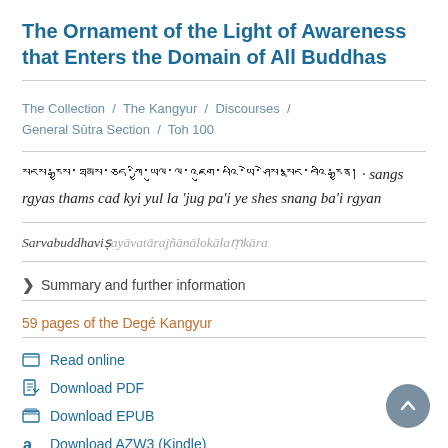The Ornament of the Light of Awareness that Enters the Domain of All Buddhas
The Collection / The Kangyur / Discourses / General Sūtra Section / Toh 100
སངས་རྒྱས་ཐམས་ཅད་ཀྱི་ཡུལ་ལ་འཇུག་པའི་ཡེ་ཤེས་སྣང་བའི་རྒྱན། · sangs rgyas thams cad kyi yul la 'jug pa'i ye shes snang ba'i rgyan
Sarvabuddhaviṣayāvatārajñānālokālaṃkāra
Summary and further information
59 pages of the Degé Kangyur
Read online
Download PDF
Download EPUB
Download AZW3 (Kindle)
Help for downloading eBooks